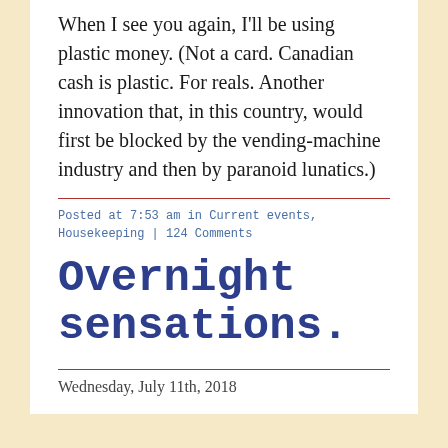When I see you again, I'll be using plastic money. (Not a card. Canadian cash is plastic. For reals. Another innovation that, in this country, would first be blocked by the vending-machine industry and then by paranoid lunatics.)
Posted at 7:53 am in Current events, Housekeeping | 124 Comments
Overnight sensations.
Wednesday, July 11th, 2018